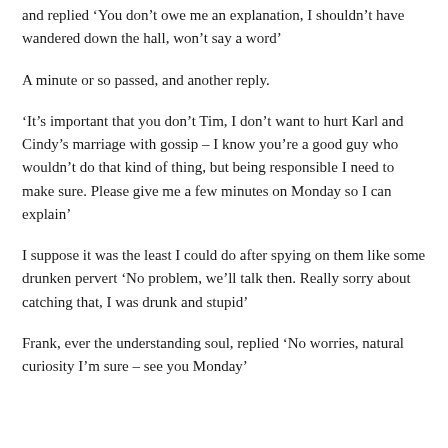and replied ‘You don’t owe me an explanation, I shouldn’t have wandered down the hall, won’t say a word’
A minute or so passed, and another reply.
‘It’s important that you don’t Tim, I don’t want to hurt Karl and Cindy’s marriage with gossip – I know you’re a good guy who wouldn’t do that kind of thing, but being responsible I need to make sure. Please give me a few minutes on Monday so I can explain’
I suppose it was the least I could do after spying on them like some drunken pervert ‘No problem, we’ll talk then. Really sorry about catching that, I was drunk and stupid’
Frank, ever the understanding soul, replied ‘No worries, natural curiosity I’m sure – see you Monday’